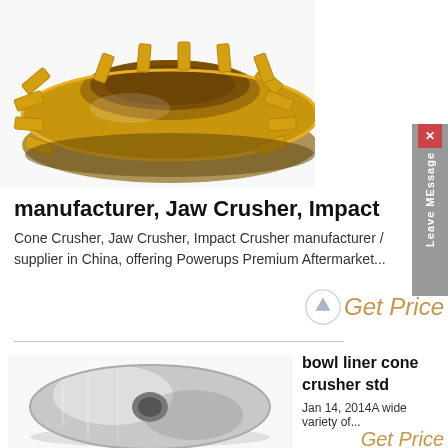[Figure (photo): Gold/bronze colored cone crusher bowl liner part, circular with radial fins, viewed from above at an angle]
[Figure (other): Gray vertical side tab with X close button and 'Leave MEssage' text rotated vertically]
manufacturer, Jaw Crusher, Impact
Cone Crusher, Jaw Crusher, Impact Crusher manufacturer / supplier in China, offering Powerups Premium Aftermarket...
Get Price
[Figure (photo): Metallic silver bowl liner cone crusher std part, circular disc shape with central hole, viewed at angle]
bowl liner cone crusher std
Jan 14, 2014A wide variety of...
Get Price